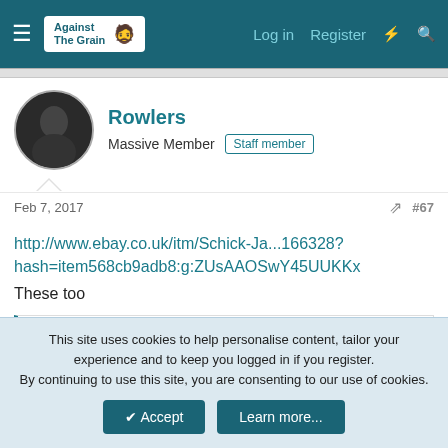Against The Grain — Log in   Register
Rowlers
Massive Member   Staff member
Feb 7, 2017   #67
http://www.ebay.co.uk/itm/Schick-Ja...166328?hash=item568cb9adb8:g:ZUsAAOSwY45UUKKx
These too
Robyflexx
MPF9
Forum GOD!
This site uses cookies to help personalise content, tailor your experience and to keep you logged in if you register.
By continuing to use this site, you are consenting to our use of cookies.
✓ Accept   Learn more...